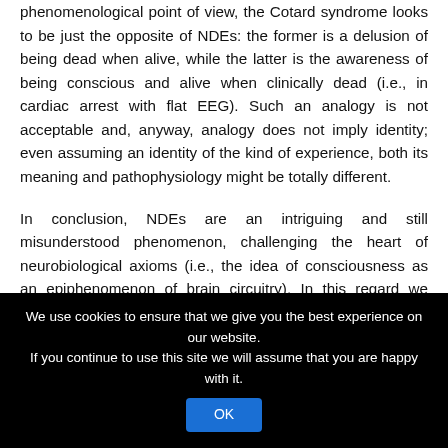phenomenological point of view, the Cotard syndrome looks to be just the opposite of NDEs: the former is a delusion of being dead when alive, while the latter is the awareness of being conscious and alive when clinically dead (i.e., in cardiac arrest with flat EEG). Such an analogy is not acceptable and, anyway, analogy does not imply identity; even assuming an identity of the kind of experience, both its meaning and pathophysiology might be totally different.
In conclusion, NDEs are an intriguing and still misunderstood phenomenon, challenging the heart of neurobiological axioms (i.e., the idea of consciousness as an epiphenomenon of brain circuitry). In this regard we should keep in mind that the study of consciousness has been a priori rejected by Galilean science, and
We use cookies to ensure that we give you the best experience on our website. If you continue to use this site we will assume that you are happy with it. OK